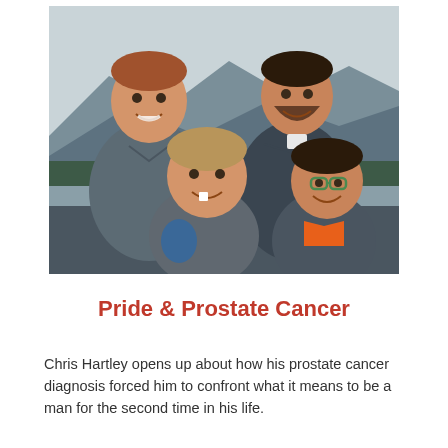[Figure (photo): Family photo of four people outdoors near a mountain lake. Two adult men stand in the back, both wearing gray/dark puffer jackets, smiling. In the front are two boys, one in a gray puffer jacket and one in a gray and orange jacket wearing green glasses. The background shows mountains, trees, and a lake on an overcast day.]
Pride & Prostate Cancer
Chris Hartley opens up about how his prostate cancer diagnosis forced him to confront what it means to be a man for the second time in his life.